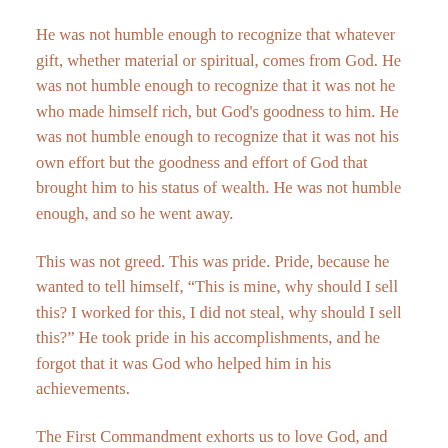He was not humble enough to recognize that whatever gift, whether material or spiritual, comes from God. He was not humble enough to recognize that it was not he who made himself rich, but God's goodness to him. He was not humble enough to recognize that it was not his own effort but the goodness and effort of God that brought him to his status of wealth. He was not humble enough, and so he went away.
This was not greed. This was pride. Pride, because he wanted to tell himself, “This is mine, why should I sell this? I worked for this, I did not steal, why should I sell this?” He took pride in his accomplishments, and he forgot that it was God who helped him in his achievements.
The First Commandment exhorts us to love God, and therefore not to worship any false god. The young man in the Gospel evidently went against this commandment because although he was not worshipping a molten idol, he